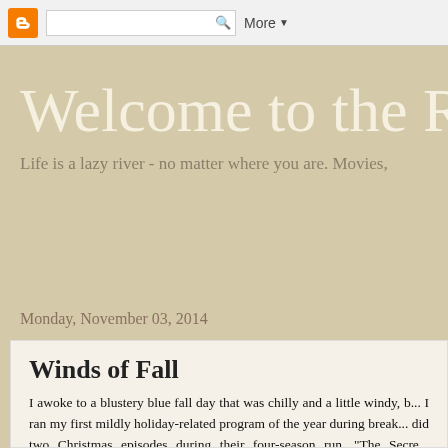Blogger navbar with search box and More button
Welcome to the R
Life is a lazy river - no matter where you are. Movies,
Monday, November 03, 2014
Winds of Fall
I awoke to a blustery blue fall day that was chilly and a little windy, b... I ran my first mildly holiday-related program of the year during break... did two Christmas episodes during their four-season run. "The Secre... second season, has more to do with winter than the holidays. Uniqua... know the secret of snow and goes to the Frozen North to ask the Ice... bored assistant (Austin) how it's done. Uniqua has no time for her qu... the desert, where she meets Cowboy Pablo, and the Jungle, where s...